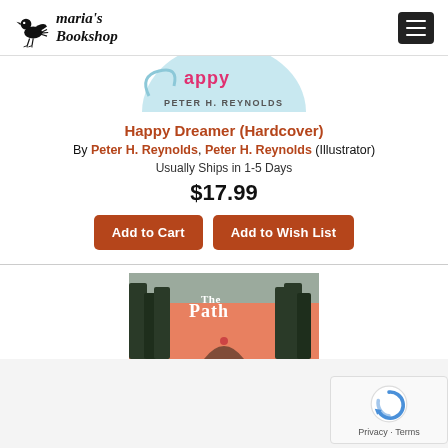Maria's Bookshop
[Figure (illustration): Partial book cover for Happy Dreamer by Peter H. Reynolds, showing bottom portion with author name 'PETER H. REYNOLDS' on a light blue circular background with pink/red wavy title text]
Happy Dreamer (Hardcover)
By Peter H. Reynolds, Peter H. Reynolds (Illustrator)
Usually Ships in 1-5 Days
$17.99
Add to Cart | Add to Wish List
[Figure (illustration): Book cover for 'The Path' showing a forest path scene with tall dark trees and warm pink/orange sky, with a small figure walking on the path]